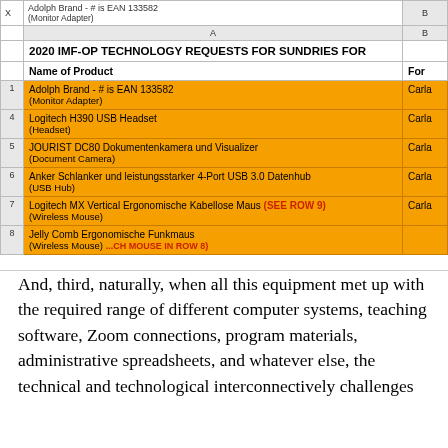[Figure (screenshot): Screenshot of a spreadsheet titled '2020 IMF-OP TECHNOLOGY REQUESTS FOR SUNDRIES FOR...' with orange-highlighted rows listing technology products: Adolph Brand - # is EAN 133582 (Monitor Adapter), Logitech H390 USB Headset (Headset), JOURIST DC80 Dokumentenkamera und Visualizer (Document Camera), Anker Schlanker und leistungsstarker 4-Port USB 3.0 Datenhub (USB Hub), Logitech MX Vertical Ergonomische Kabellose Maus (SEE ROW 9) (Wireless Mouse), Jelly Comb Ergonomische Funkmaus (Wireless Mouse). Columns include Name of Product and For (Carla...).]
And, third, naturally, when all this equipment met up with the required range of different computer systems, teaching software, Zoom connections, program materials, administrative spreadsheets, and whatever else, the technical and technological interconnectively challenges